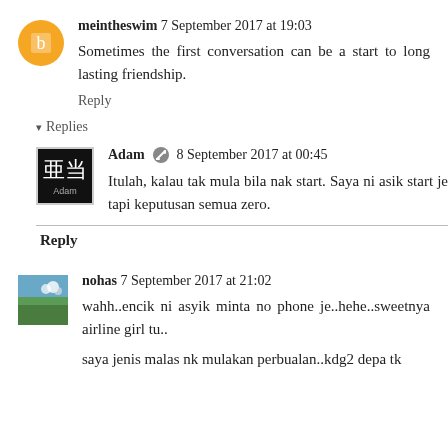meintheswim 7 September 2017 at 19:03
Sometimes the first conversation can be a start to long lasting friendship.
Reply
▾ Replies
Adam 8 September 2017 at 00:45
Itulah, kalau tak mula bila nak start. Saya ni asik start je tapi keputusan semua zero.
Reply
nohas 7 September 2017 at 21:02
wahh..encik ni asyik minta no phone je..hehe..sweetnya airline girl tu..
saya jenis malas nk mulakan perbualan..kdg2 depa tk